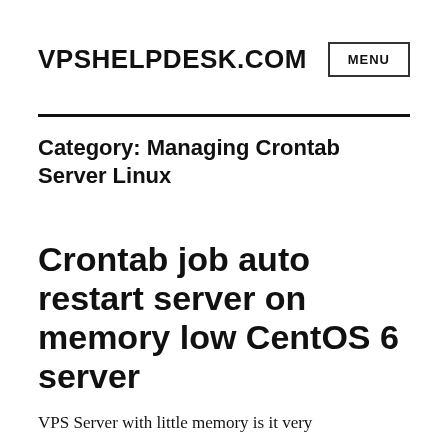VPSHELPDESK.COM
Category: Managing Crontab Server Linux
Crontab job auto restart server on memory low CentOS 6 server
VPS Server with little memory is it very